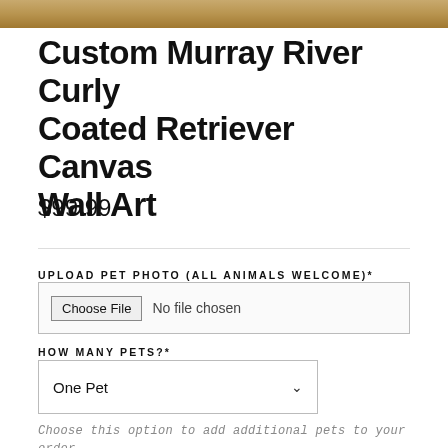[Figure (photo): Top strip showing wood/fur texture background image]
Custom Murray River Curly Coated Retriever Canvas Wall Art
$99.99
UPLOAD PET PHOTO (ALL ANIMALS WELCOME)*
Choose File  No file chosen
HOW MANY PETS?*
One Pet
Choose this option to add additional pets to your order. Then upload a picture with pets together.
SIZE